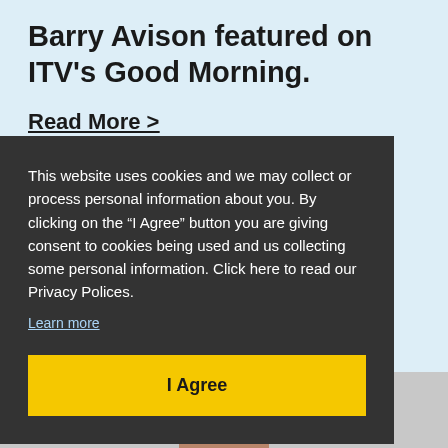Barry Avison featured on ITV's Good Morning.
Read More >
This website uses cookies and we may collect or process personal information about you. By clicking on the “I Agree” button you are giving consent to cookies being used and us collecting some personal information. Click here to read our Privacy Polices.
Learn more
I Agree
[Figure (photo): Partial view of a person's head/face at the bottom of the page]